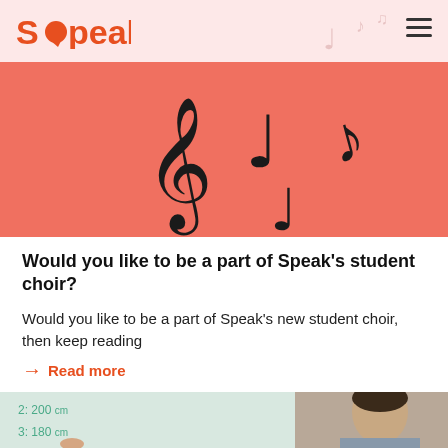[Figure (logo): Speak School of Danish logo in orange/red with speech bubble replacing the 'o' in Speak, on a light pink background with decorative music notes]
[Figure (illustration): Coral/salmon colored banner with large black music note symbols (treble clef, eighth notes, quarter notes) scattered across it]
Would you like to be a part of Speak’s student choir?
Would you like to be a part of Speak’s new student choir, then keep reading
→ Read more
[Figure (photo): Photo of a male teacher standing in front of a whiteboard with handwritten text showing measurements like '2: 200 cm' and '3: 180 cm', holding a marker]